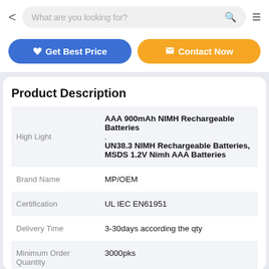What are you looking for?
[Figure (screenshot): Get Best Price and Contact Now buttons]
Product Description
| Field | Value |
| --- | --- |
| High Light | AAA 900mAh NIMH Rechargeable Batteries
UN38.3 NIMH Rechargeable Batteries, MSDS 1.2V Nimh AAA Batteries |
| Brand Name | MP/OEM |
| Certification | UL IEC EN61951 |
| Delivery Time | 3-30days according the qty |
| Minimum Order Quantity | 3000pks |